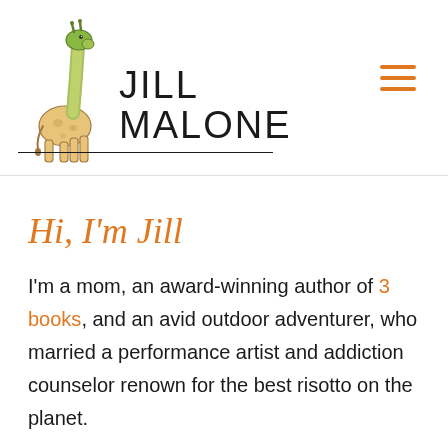[Figure (logo): Jill Malone logo: cartoon giraffe with green head/neck and orange-yellow body standing beside bold text reading JILL MALONE, with a horizontal underline]
Hi, I'm Jill
I'm a mom, an award-winning author of 3 books, and an avid outdoor adventurer, who married a performance artist and addiction counselor renown for the best risotto on the planet.